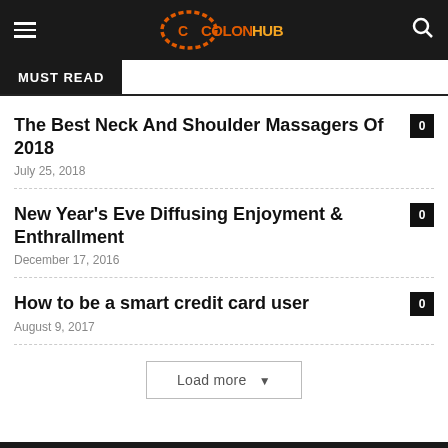ColonHub
MUST READ
The Best Neck And Shoulder Massagers Of 2018
July 25, 2018
New Year's Eve Diffusing Enjoyment & Enthrallment
December 17, 2016
How to be a smart credit card user
August 9, 2017
Load more